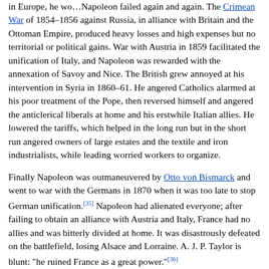Crimean War of 1854–1856 against Russia, in alliance with Britain and the Ottoman Empire, produced heavy losses and high expenses but no territorial or political gains. War with Austria in 1859 facilitated the unification of Italy, and Napoleon was rewarded with the annexation of Savoy and Nice. The British grew annoyed at his intervention in Syria in 1860–61. He angered Catholics alarmed at his poor treatment of the Pope, then reversed himself and angered the anticlerical liberals at home and his erstwhile Italian allies. He lowered the tariffs, which helped in the long run but in the short run angered owners of large estates and the textile and iron industrialists, while leading worried workers to organize.
Finally Napoleon was outmaneuvered by Otto von Bismarck and went to war with the Germans in 1870 when it was too late to stop German unification.[35] Napoleon had alienated everyone; after failing to obtain an alliance with Austria and Italy, France had no allies and was bitterly divided at home. It was disastrously defeated on the battlefield, losing Alsace and Lorraine. A. J. P. Taylor is blunt: "he ruined France as a great power."[36]
American Civil War and Mexico
Main articles: France and the American Civil War and France–Mexico relations